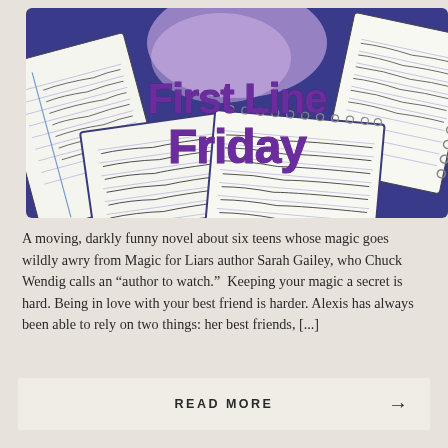[Figure (photo): Banner image showing open notebooks with handwritten text arranged on a purple/blue background, with overlaid bold purple text reading 'First Line Friday']
A moving, darkly funny novel about six teens whose magic goes wildly awry from Magic for Liars author Sarah Gailey, who Chuck Wendig calls an “author to watch.”  Keeping your magic a secret is hard. Being in love with your best friend is harder. Alexis has always been able to rely on two things: her best friends, [...]
READ MORE →